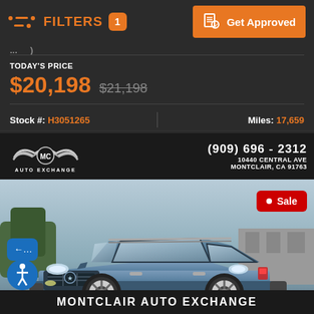FILTERS 1 | Get Approved
TODAY'S PRICE
$20,198  $21,198
Stock #: H3051265 | Miles: 17,659
[Figure (photo): Montclair Auto Exchange dealer listing showing a blue Subaru Outback SUV with Sale badge. Dealer logo and contact info: (909) 696 - 2312, 10440 Central Ave, Montclair, CA 91763. Footer reads MONTCLAIR AUTO EXCHANGE.]